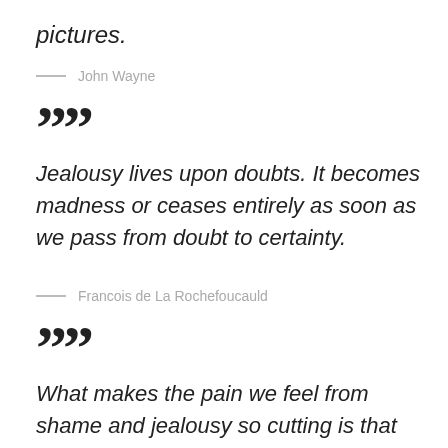pictures.
— John Wayne
””
Jealousy lives upon doubts. It becomes madness or ceases entirely as soon as we pass from doubt to certainty.
— Francois de La Rochefoucauld
””
What makes the pain we feel from shame and jealousy so cutting is that vanity can give us no assistance in bearing them.